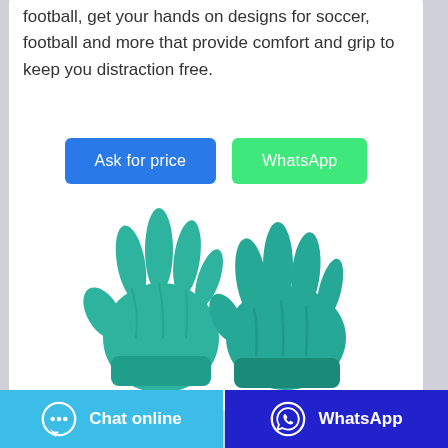football, get your hands on designs for soccer, football and more that provide comfort and grip to keep you distraction free.
[Figure (other): Two teal/green nitrile rubber gloves displayed on white background]
[Figure (infographic): Bottom bar with two buttons: 'Chat online' (light blue with chat bubble icon) and 'WhatsApp' (dark blue with WhatsApp icon)]